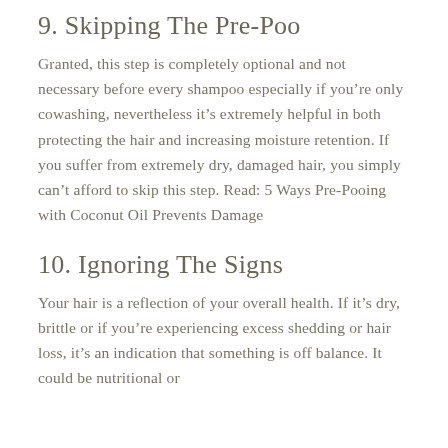9. Skipping The Pre-Poo
Granted, this step is completely optional and not necessary before every shampoo especially if you’re only cowashing, nevertheless it’s extremely helpful in both protecting the hair and increasing moisture retention. If you suffer from extremely dry, damaged hair, you simply can’t afford to skip this step. Read: 5 Ways Pre-Pooing with Coconut Oil Prevents Damage
10. Ignoring The Signs
Your hair is a reflection of your overall health. If it’s dry, brittle or if you’re experiencing excess shedding or hair loss, it’s an indication that something is off balance. It could be nutritional or